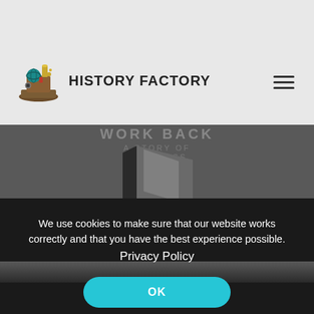HISTORY FACTORY
[Figure (screenshot): History Factory website screenshot showing logo with steampunk-style machinery icon and 'HISTORY FACTORY' text, hamburger menu icon on right, hero section with dark background showing a book/publication cover with faded text 'WORK BACK' and subtitle text, and a cookie consent popup at the bottom with text and OK button]
We use cookies to make sure that our website works correctly and that you have the best experience possible. Privacy Policy
OK